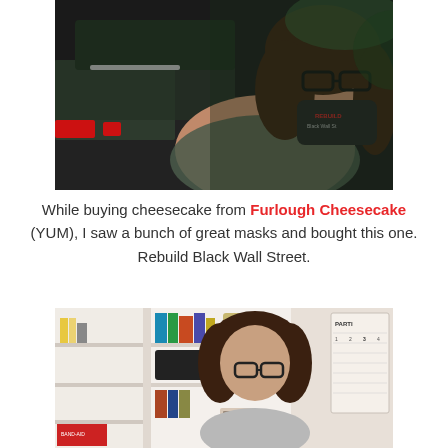[Figure (photo): Woman wearing glasses and a face mask reading 'Rebuild Black Wall Street', standing outside near a vehicle with red taillights at night]
While buying cheesecake from Furlough Cheesecake (YUM), I saw a bunch of great masks and bought this one. Rebuild Black Wall Street.
[Figure (photo): Woman with curly hair wearing glasses, seated indoors in front of bookshelves filled with books and various items, with a calendar on the wall to the right]